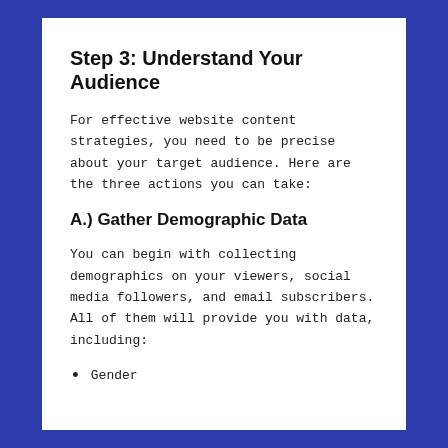Step 3: Understand Your Audience
For effective website content strategies, you need to be precise about your target audience. Here are the three actions you can take:
A.) Gather Demographic Data
You can begin with collecting demographics on your viewers, social media followers, and email subscribers. All of them will provide you with data, including:
Gender